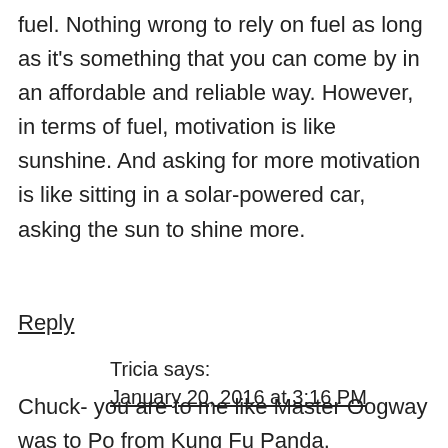fuel. Nothing wrong to rely on fuel as long as it's something that you can come by in an affordable and reliable way. However, in terms of fuel, motivation is like sunshine. And asking for more motivation is like sitting in a solar-powered car, asking the sun to shine more.
Reply
Tricia says:
January 20, 2016 at 3:16 PM
Chuck- you are to me like Master Oogway was to Po from Kung Fu Panda.